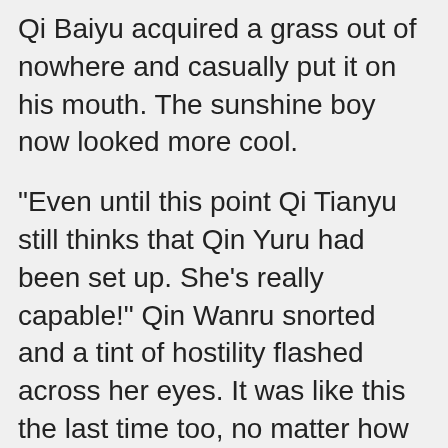Qi Baiyu acquired a grass out of nowhere and casually put it on his mouth. The sunshine boy now looked more cool.
"Even until this point Qi Tianyu still thinks that Qin Yuru had been set up. She's really capable!" Qin Wanru snorted and a tint of hostility flashed across her eyes. It was like this the last time too, no matter how much she explained, Qi Baiyu would only believe that Qin Yuru caused her potential marriage with Qi Tianyu to fall apart. Qi Baiyu believed that she wanted Qi Tianyu to watch his most beloved woman marry someone else. Hence, he was cry against her.
Even when she was already in a terrible state during them and evidence had been found, it was as if Qi Tianyu's was blindfolded, he would not believe Qi